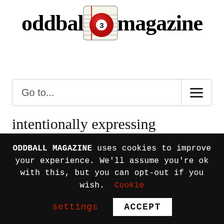[Figure (logo): Oddball Magazine logo with a red billiard ball (number 3) icon embedded in the text between 'oddball' and 'magazine']
Go to...
intentionally expressing consequences of love, lust, ego and self-respect.
ODDBALL MAGAZINE uses cookies to improve your experience. We'll assume you're ok with this, but you can opt-out if you wish. Cookie settings ACCEPT